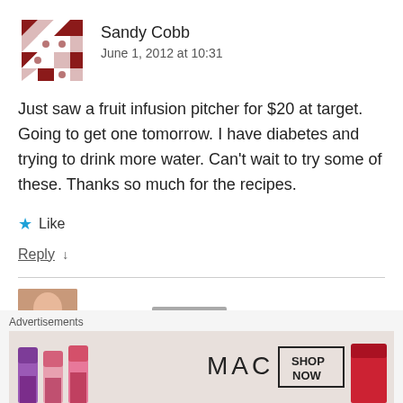[Figure (illustration): Geometric/quilt-style avatar icon in dark red/maroon colors with a snowflake-like pattern]
Sandy Cobb
June 1, 2012 at 10:31
Just saw a fruit infusion pitcher for $20 at target. Going to get one tomorrow. I have diabetes and trying to drink more water. Can't wait to try some of these. Thanks so much for the recipes.
★ Like
Reply ↓
[Figure (photo): Partial photo of a person, second commenter avatar]
nancyc
Advertisements
[Figure (photo): MAC cosmetics advertisement showing lipsticks in purple, pink, and red shades with MAC logo and SHOP NOW button]